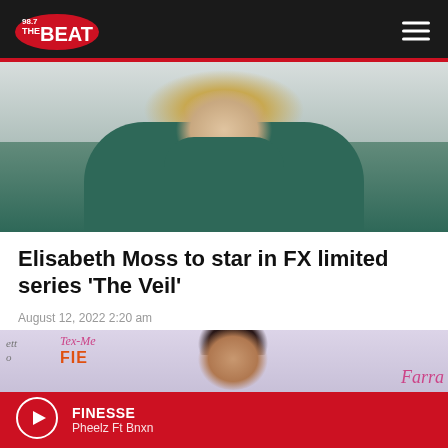98.7 The Beat
[Figure (photo): Woman in dark teal/green turtleneck top with blonde hair, from shoulders up, against light background]
Elisabeth Moss to star in FX limited series ‘The Veil’
August 12, 2022 2:20 am
[Figure (photo): Woman with dark hair in sleek updo, at an event with Tex-Mex Fiesta and Farra branded step-and-repeat backdrop]
FINESSE
Pheelz Ft Bnxn